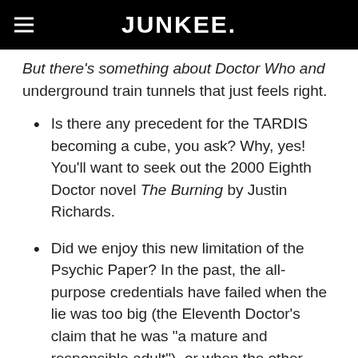JUNKEE.
But there's something about Doctor Who and underground train tunnels that just feels right.
Is there any precedent for the TARDIS becoming a cube, you ask? Why, yes! You'll want to seek out the 2000 Eighth Doctor novel The Burning by Justin Richards.
Did we enjoy this new limitation of the Psychic Paper? In the past, the all-purpose credentials have failed when the lie was too big (the Eleventh Doctor's claim that he was “a mature and responsible adult”), or when the other person was too big a genius to be fooled by it (William Shakespeare). Here, one person’s lack of imagination prevents him from being taken in,